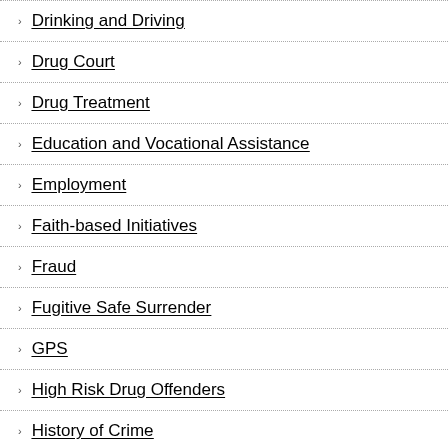Drinking and Driving
Drug Court
Drug Treatment
Education and Vocational Assistance
Employment
Faith-based Initiatives
Fraud
Fugitive Safe Surrender
GPS
High Risk Drug Offenders
History of Crime